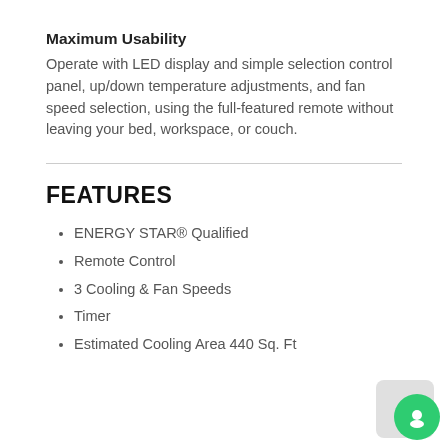Maximum Usability
Operate with LED display and simple selection control panel, up/down temperature adjustments, and fan speed selection, using the full-featured remote without leaving your bed, workspace, or couch.
FEATURES
ENERGY STAR® Qualified
Remote Control
3 Cooling & Fan Speeds
Timer
Estimated Cooling Area 440 Sq. Ft